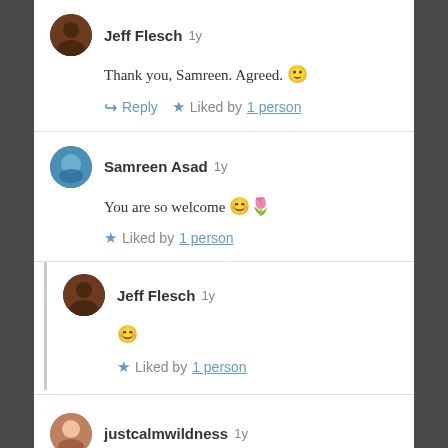Jeff Flesch 1y — Thank you, Samreen. Agreed. 🙂 — Reply ★ Liked by 1 person
Samreen Asad 1y — You are so welcome 😊🌷 — ★ Liked by 1 person
Jeff Flesch 1y — 😊 — ★ Liked by 1 person
justcalmwildness 1y — I love the scheme you are doing on your blog. You write prose about a topic then a poem.